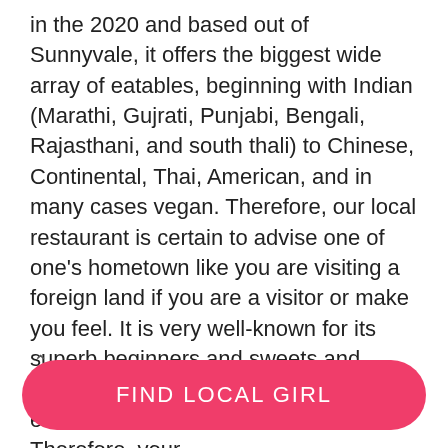in the 2020 and based out of Sunnyvale, it offers the biggest wide array of eatables, beginning with Indian (Marathi, Gujrati, Punjabi, Bengali, Rajasthani, and south thali) to Chinese, Continental, Thai, American, and in many cases vegan. Therefore, our local restaurant is certain to advise one of one's hometown like you are visiting a foreign land if you are a visitor or make you feel. It is very well-known for its superb beginners and sweets and services that are efficient. The price extends from as low as 30 to 100. Therefore, your hour restaurant in Sunnyvale is available to vers of all the types of finances. a number that od of items can be existing when it comes to people who do not eat non-veg.
[Figure (other): A pink circle annotation showing '60%' with an upward caret arrow above it, overlapping the text on the left margin.]
FIND LOCAL GIRL